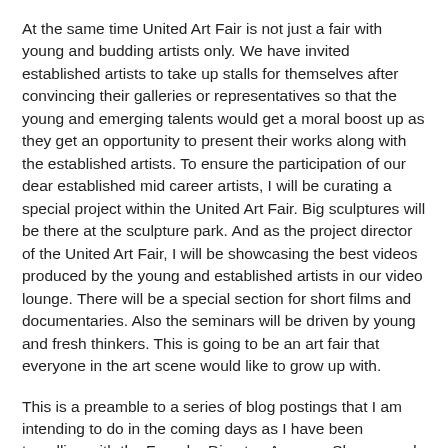At the same time United Art Fair is not just a fair with young and budding artists only. We have invited established artists to take up stalls for themselves after convincing their galleries or representatives so that the young and emerging talents would get a moral boost up as they get an opportunity to present their works along with the established artists. To ensure the participation of our dear established mid career artists, I will be curating a special project within the United Art Fair. Big sculptures will be there at the sculpture park. And as the project director of the United Art Fair, I will be showcasing the best videos produced by the young and established artists in our video lounge. There will be a special section for short films and documentaries. Also the seminars will be driven by young and fresh thinkers. This is going to be an art fair that everyone in the art scene would like to grow up with.
This is a preamble to a series of blog postings that I am intending to do in the coming days as I have been travelling with the Founder Director, Annurag Sharma and my team of colleagues all over India to promote and create awareness